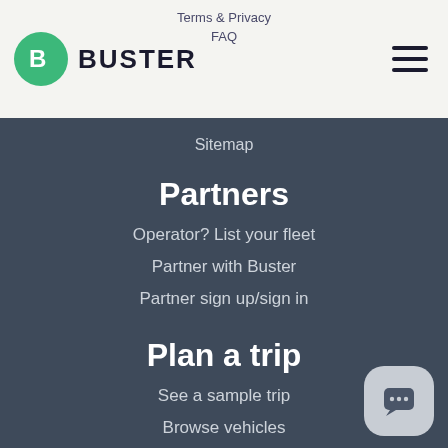BUSTER
Terms & Privacy
FAQ
Sitemap
Partners
Operator? List your fleet
Partner with Buster
Partner sign up/sign in
Plan a trip
See a sample trip
Browse vehicles
Destinations